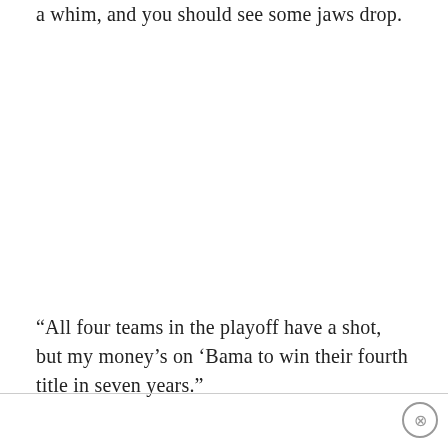a whim, and you should see some jaws drop.
“All four teams in the playoff have a shot, but my money’s on ‘Bama to win their fourth title in seven years.”